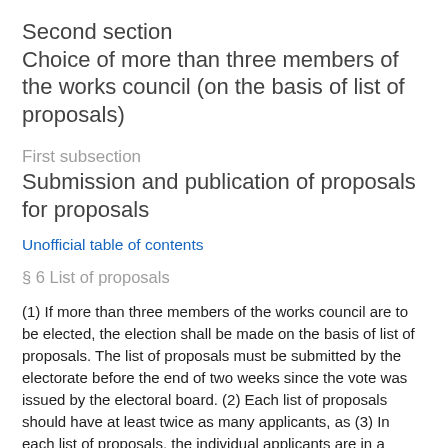Second section
Choice of more than three members of the works council (on the basis of list of proposals)
First subsection
Submission and publication of proposals for proposals
Unofficial table of contents
§ 6 List of proposals
(1) If more than three members of the works council are to be elected, the election shall be made on the basis of list of proposals. The list of proposals must be submitted by the electorate before the end of two weeks since the vote was issued by the electoral board. (2) Each list of proposals should have at least twice as many applicants, as (3) In each list of proposals, the individual applicants are in a